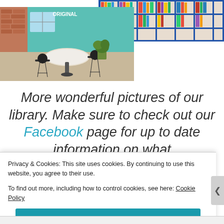[Figure (photo): Two library photos side by side: left shows a cafe seating area with high tables and bar stools with a plant; right shows library bookshelves stocked with children's books.]
More wonderful pictures of our library. Make sure to check out our Facebook page for up to date information on what
Privacy & Cookies: This site uses cookies. By continuing to use this website, you agree to their use.
To find out more, including how to control cookies, see here: Cookie Policy
Close and accept